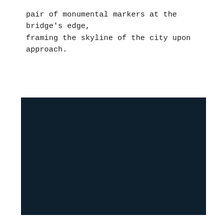pair of monumental markers at the bridge's edge, framing the skyline of the city upon approach.
[Figure (photo): A very dark navy/dark teal photograph, nearly black, occupying the lower portion of the page. The image content is not discernible due to extreme darkness.]